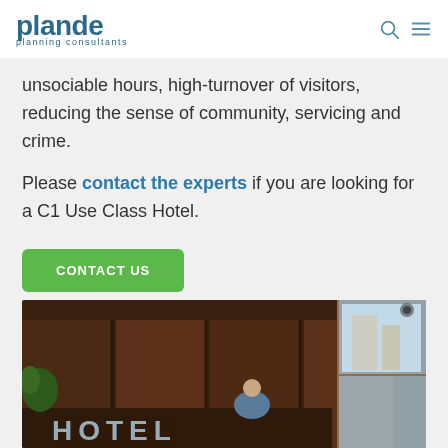plande planning consultants
unsociable hours, high-turnover of visitors, reducing the sense of community, servicing and crime.
Please contact the experts if you are looking for a C1 Use Class Hotel.
CONTACT US
[Figure (photo): Hotel lobby interior with dark wood paneling, 'HOTEL' lettering on the desk, a person sitting, and a window with a street view in the background.]